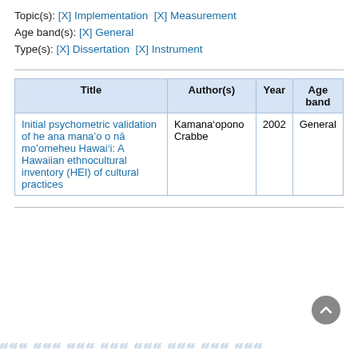Topic(s): [X] Implementation  [X] Measurement
Age band(s): [X] General
Type(s): [X] Dissertation  [X] Instrument
| Title | Author(s) | Year | Age band |
| --- | --- | --- | --- |
| Initial psychometric validation of he ana mana'o o nā mo'omeheu Hawai'i: A Hawaiian ethnocultural inventory (HEI) of cultural practices | Kamana'opono Crabbe | 2002 | General |